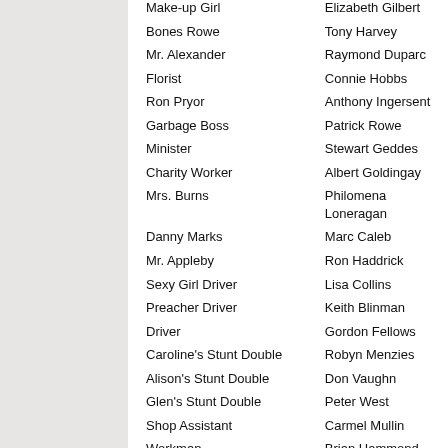| Role | Actor |
| --- | --- |
| Make-up Girl | Elizabeth Gilbert |
| Bones Rowe | Tony Harvey |
| Mr. Alexander | Raymond Duparc |
| Florist | Connie Hobbs |
| Ron Pryor | Anthony Ingersent |
| Garbage Boss | Patrick Rowe |
| Minister | Stewart Geddes |
| Charity Worker | Albert Goldingay |
| Mrs. Burns | Philomena Loneragan |
| Danny Marks | Marc Caleb |
| Mr. Appleby | Ron Haddrick |
| Sexy Girl Driver | Lisa Collins |
| Preacher Driver | Keith Blinman |
| Driver | Gordon Fellows |
| Caroline's Stunt Double | Robyn Menzies |
| Alison's Stunt Double | Don Vaughn |
| Glen's Stunt Double | Peter West |
| Shop Assistant | Carmel Mullin |
| Workman | Brian Hammond |
| Justin Slade | Peter Mochrie |
| Stallholder | Sandra Campbell |
| Ted Flogit | Nik Forster |
| Customer | Colin Borgonon |